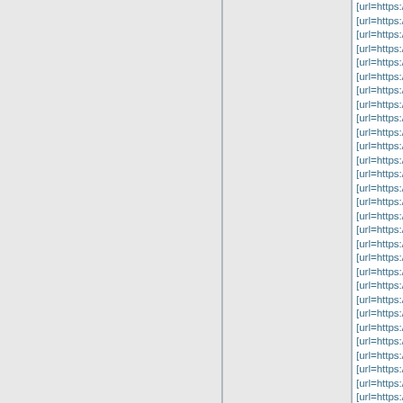[url=https://www.nikefactory-ou...
[url=https://www.nike-runningsh...
[url=https://www.nikeshoess.us...
[url=https://www.cheapnfljersey...
[url=https://www.nikebasketball...
[url=https://www.adidasshoessa...
[url=https://www.nmdxr1.us.con...
[url=https://www.yeezyshoesad...
[url=https://www.airjordanshoes...
[url=https://www.ultra-boosts.us...
[url=https://www.newadidassho...
[url=https://www.jordanretrosho...
[url=https://www.nmdshoes.org...
[url=https://www.new-nikeshoes...
[url=https://www.pandorasjewel...
[url=https://www.trainersoutletu...
[url=https://www.max97.org.uk/...
[url=https://www.nflfootballjersey...
[url=https://www.newshoes2019...
[url=https://www.max97.org.uk/...
[url=https://www.pandora-store....
[url=https://www.shoesyeezy.us...
[url=https://www.adidasstan-sm...
[url=https://www.nikeoutletstore...
[url=https://www.nikeshoess.us...
[url=https://www.ultraboost.org....
[url=https://www.max97.org.uk/...
[url=https://www.adidassupersta...
[url=https://www.lebron-jamessl...
[url=https://www.nikesneakerss...
[url=https://www.airjordanshoes...
[url=https://www.sneakerswebs...
[url=https://www.shoesstore.org...
[url=https://www.nike-outletsto...
[url=https://www.adidassuperst...
[url=https://www.nikeshoes2019...
[url=https://www.adidasoutletsto...
[url=https://www.nikebasketba...